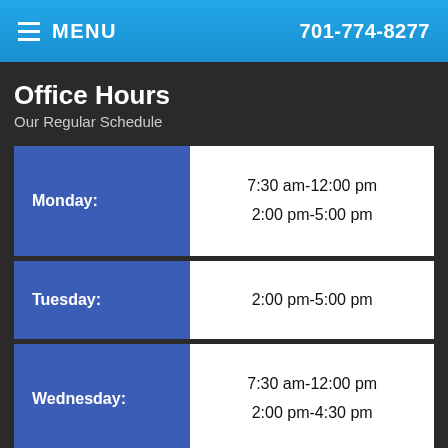MENU  701-774-8277
Office Hours
Our Regular Schedule
| Day | Hours |
| --- | --- |
| Monday: | 7:30 am-12:00 pm
2:00 pm-5:00 pm |
| Tuesday: | 2:00 pm-5:00 pm |
| Wednesday: | 7:30 am-12:00 pm
2:00 pm-4:30 pm |
| Thursday: | 7:30 am-12:00 pm
2:00 pm-5:00 pm |